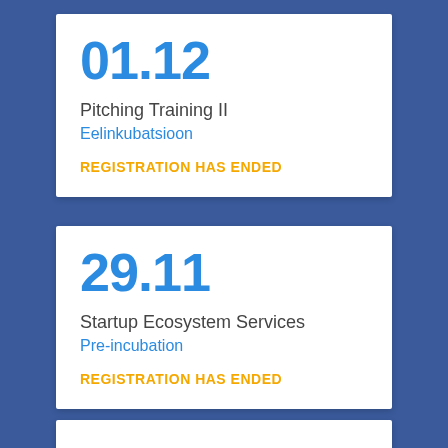01.12
Pitching Training II
Eelinkubatsioon
REGISTRATION HAS ENDED
29.11
Startup Ecosystem Services
Pre-incubation
REGISTRATION HAS ENDED